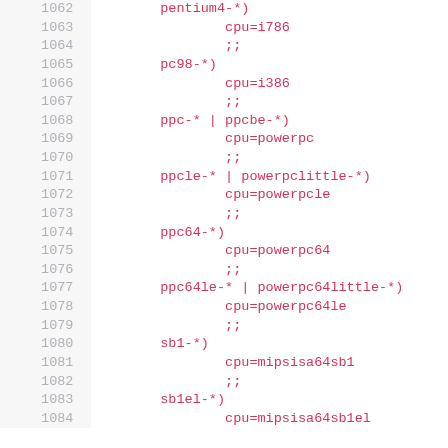Code listing lines 1062-1083 showing shell script case patterns for CPU architecture detection
| line | code |
| --- | --- |
| 1062 |         pentium4-*) |
| 1063 |                 cpu=i786 |
| 1064 |                 ;; |
| 1065 |         pc98-*) |
| 1066 |                 cpu=i386 |
| 1067 |                 ;; |
| 1068 |         ppc-* | ppcbe-*) |
| 1069 |                 cpu=powerpc |
| 1070 |                 ;; |
| 1071 |         ppcle-* | powerpclittle-*) |
| 1072 |                 cpu=powerpcle |
| 1073 |                 ;; |
| 1074 |         ppc64-*) |
| 1075 |                 cpu=powerpc64 |
| 1076 |                 ;; |
| 1077 |         ppc64le-* | powerpc64little-*) |
| 1078 |                 cpu=powerpc64le |
| 1079 |                 ;; |
| 1080 |         sb1-*) |
| 1081 |                 cpu=mipsisa64sb1 |
| 1082 |                 ;; |
| 1083 |         sb1el-*) |
| 1084 |                 cpu=mipsisa64sb1el |